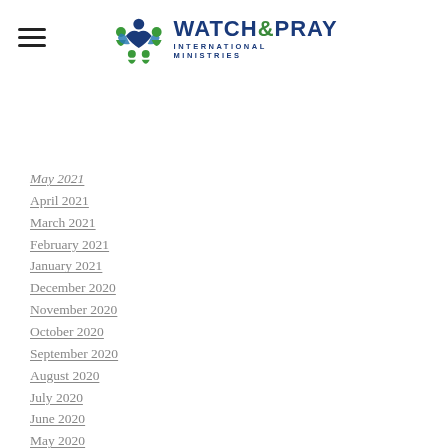Watch & Pray International Ministries
May 2021
April 2021
March 2021
February 2021
January 2021
December 2020
November 2020
October 2020
September 2020
August 2020
July 2020
June 2020
May 2020
April 2020
March 2020
February 2020
January 2020
December 2019
November 2019